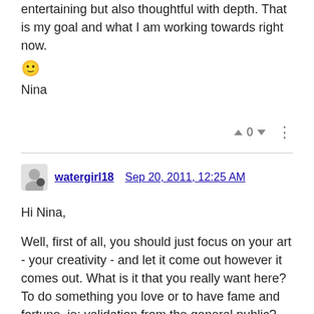entertaining but also thoughtful with depth. That is my goal and what I am working towards right now. 🙂
Nina
∧ 0 ∨ ⋮
watergirl18 Sep 20, 2011, 12:25 AM
Hi Nina,

Well, first of all, you should just focus on your art - your creativity - and let it come out however it comes out. What is it that you really want here? To do something you love or to have fame and fortune, ie: validation from the general public? Any artist or creative person I have known has always let their craft lead them organically into the "what's next" and they have never ever worried about whether or not the general public would consider it successful. In other words, what was important to